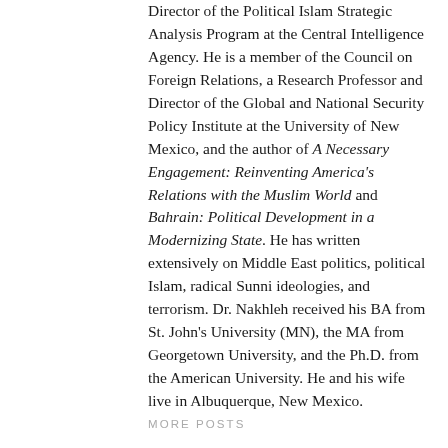Director of the Political Islam Strategic Analysis Program at the Central Intelligence Agency. He is a member of the Council on Foreign Relations, a Research Professor and Director of the Global and National Security Policy Institute at the University of New Mexico, and the author of A Necessary Engagement: Reinventing America's Relations with the Muslim World and Bahrain: Political Development in a Modernizing State. He has written extensively on Middle East politics, political Islam, radical Sunni ideologies, and terrorism. Dr. Nakhleh received his BA from St. John's University (MN), the MA from Georgetown University, and the Ph.D. from the American University. He and his wife live in Albuquerque, New Mexico.
MORE POSTS